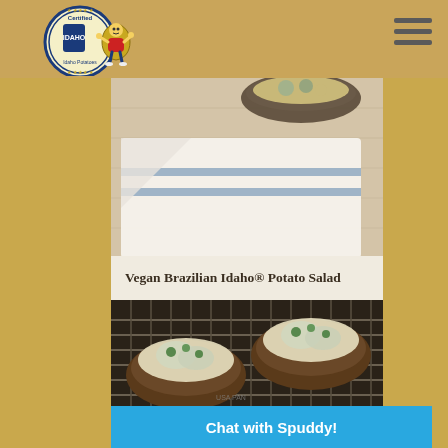[Figure (logo): Certified Idaho Potato Commission logo with cartoon potato mascot character giving thumbs up]
[Figure (photo): Close-up photo of a vegan Brazilian Idaho potato salad in a bowl with a striped linen napkin on a wooden surface]
Vegan Brazilian Idaho® Potato Salad
[Figure (photo): Photo of baked Idaho potatoes topped with melted cheese and herbs on a metal baking rack with USA Pan label]
Chat with Spuddy!